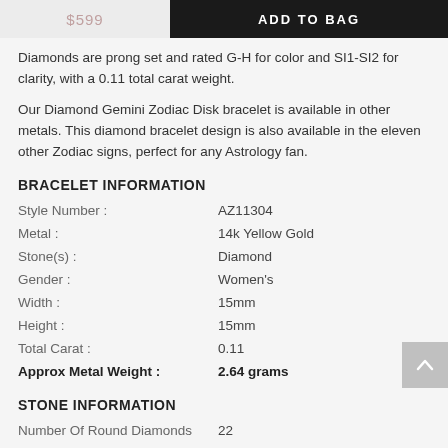$599  ADD TO BAG
Diamonds are prong set and rated G-H for color and SI1-SI2 for clarity, with a 0.11 total carat weight.
Our Diamond Gemini Zodiac Disk bracelet is available in other metals. This diamond bracelet design is also available in the eleven other Zodiac signs, perfect for any Astrology fan.
BRACELET INFORMATION
| Property | Value |
| --- | --- |
| Style Number : | AZ11304 |
| Metal : | 14k Yellow Gold |
| Stone(s) : | Diamond |
| Gender : | Women's |
| Width : | 15mm |
| Height : | 15mm |
| Total Carat : | 0.11 |
| Approx Metal Weight : | 2.64 grams |
STONE INFORMATION
| Property | Value |
| --- | --- |
| Number Of Round Diamonds | 22 |
| Clarity | SI1-SI2 |